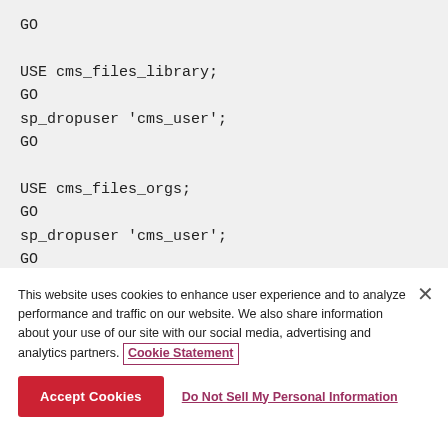GO

USE cms_files_library;
GO
sp_dropuser 'cms_user';
GO

USE cms_files_orgs;
GO
sp_dropuser 'cms_user';
GO
This website uses cookies to enhance user experience and to analyze performance and traffic on our website. We also share information about your use of our site with our social media, advertising and analytics partners. Cookie Statement
Accept Cookies
Do Not Sell My Personal Information